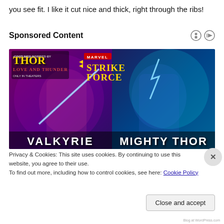you see fit. I like it cut nice and thick, right through the ribs!
Sponsored Content
[Figure (illustration): Marvel Strike Force advertisement showing Valkyrie character on the left holding a blue glowing sword, and Mighty Thor character on the right wielding a hammer with lightning. Top-left has Thor Love and Thunder movie branding, top-center has Marvel Strike Force yellow logo. Bottom labels read VALKYRIE and MIGHTY THOR in white Impact font.]
Privacy & Cookies: This site uses cookies. By continuing to use this website, you agree to their use.
To find out more, including how to control cookies, see here: Cookie Policy